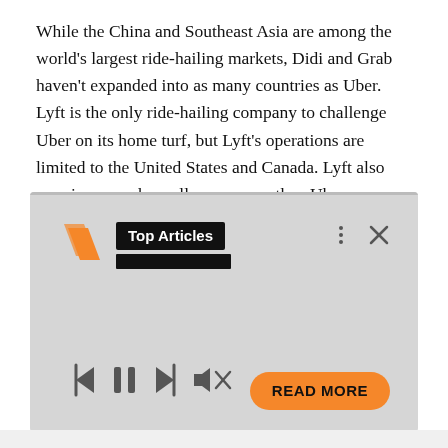While the China and Southeast Asia are among the world's largest ride-hailing markets, Didi and Grab haven't expanded into as many countries as Uber. Lyft is the only ride-hailing company to challenge Uber on its home turf, but Lyft's operations are limited to the United States and Canada. Lyft also remains a much smaller company than Uber.
[Figure (screenshot): An embedded media widget with a gray background showing 'Top Articles' label with an orange logo/slash icon on the left, menu and close icons on the top right, media playback controls (skip back, pause, skip forward, mute) on the bottom left, and an orange 'READ MORE' button on the bottom right.]